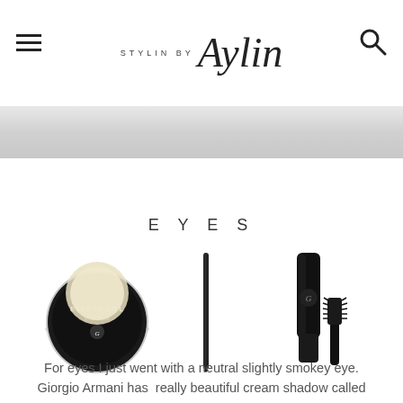STYLIN BY Aylin
[Figure (photo): Gray banner/hero image strip below the header]
EYES
[Figure (photo): Three Giorgio Armani eye makeup products: a cream eyeshadow compact (Eyes to Kill), a black eyeliner pencil, and a mascara with wand]
For eyes I just went with a neutral slightly smokey eye. Giorgio Armani has  really beautiful cream shadow called